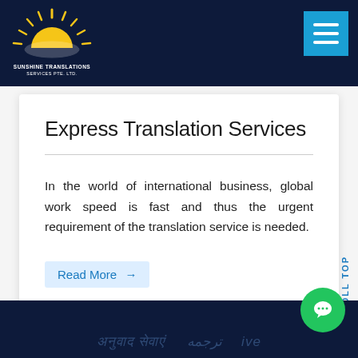[Figure (logo): Sunshine Translation Services logo with sun rays over a globe, yellow and white on dark navy background]
Express Translation Services
In the world of international business, global work speed is fast and thus the urgent requirement of the translation service is needed.
Read More →